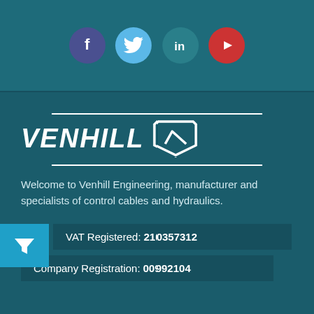[Figure (infographic): Social media icons: Facebook (dark purple circle), Twitter (light blue circle), LinkedIn (teal circle), YouTube (red circle)]
[Figure (logo): Venhill Engineering logo: VENHILL text in italic bold white with a stylized shield/badge icon, flanked by horizontal white lines]
Welcome to Venhill Engineering, manufacturer and specialists of control cables and hydraulics.
VAT Registered: 210357312
Company Registration: 00992104
Help
Contact Us